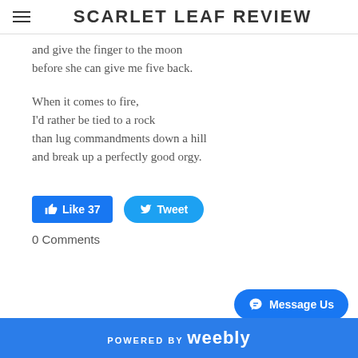SCARLET LEAF REVIEW
and give the finger to the moon
before she can give me five back.

When it comes to fire,
I'd rather be tied to a rock
than lug commandments down a hill
and break up a perfectly good orgy.
Like 37   Tweet
0 Comments
POWERED BY weebly